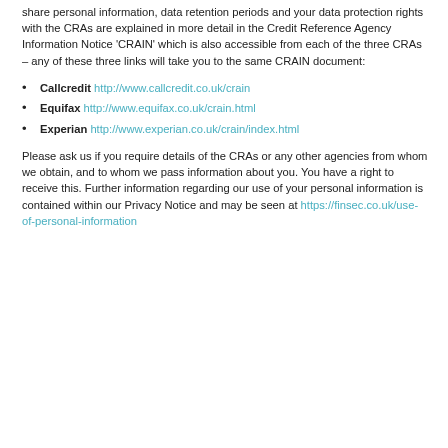share personal information, data retention periods and your data protection rights with the CRAs are explained in more detail in the Credit Reference Agency Information Notice 'CRAIN' which is also accessible from each of the three CRAs – any of these three links will take you to the same CRAIN document:
Callcredit http://www.callcredit.co.uk/crain
Equifax http://www.equifax.co.uk/crain.html
Experian http://www.experian.co.uk/crain/index.html
Please ask us if you require details of the CRAs or any other agencies from whom we obtain, and to whom we pass information about you. You have a right to receive this. Further information regarding our use of your personal information is contained within our Privacy Notice and may be seen at https://finsec.co.uk/use-of-personal-information